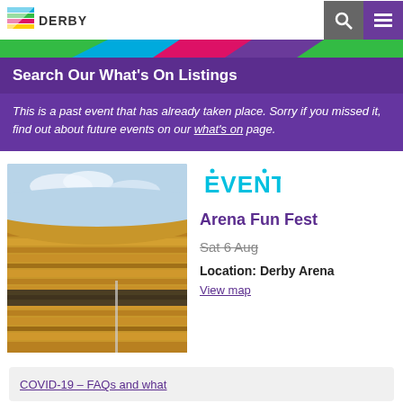IN DERBY
Search Our What's On Listings
This is a past event that has already taken place. Sorry if you missed it, find out about future events on our what's on page.
[Figure (photo): Exterior photo of Derby Arena, showing curved wooden-clad facade with blue sky in background]
[Figure (logo): EVENT badge logo in blue bubble-letter style]
Arena Fun Fest
Sat 6 Aug
Location: Derby Arena
View map
COVID-19 – FAQs and what